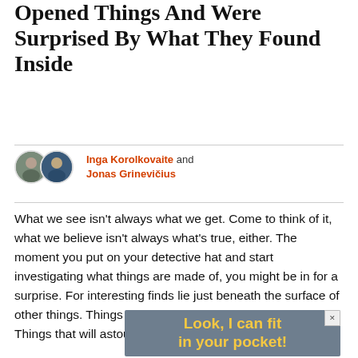Opened Things And Were Surprised By What They Found Inside
Inga Korolkovaite and Jonas Grinevičius
What we see isn't always what we get. Come to think of it, what we believe isn't always what's true, either. The moment you put on your detective hat and start investigating what things are made of, you might be in for a surprise. For interesting finds lie just beneath the surface of other things. Things that might shock and astonish you! Things that will astound and amaze you! [Queue fireworks]
[Figure (other): Advertisement banner with dark grey/blue background and yellow bold text reading 'Look, I can fit in your pocket!']